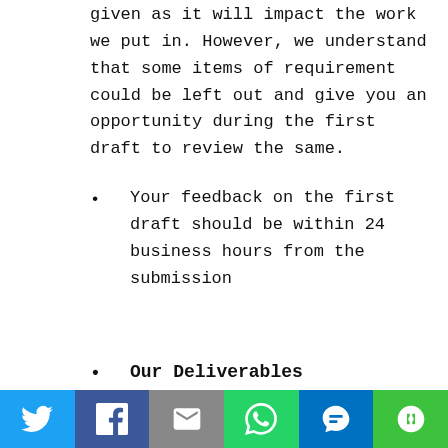given as it will impact the work we put in. However, we understand that some items of requirement could be left out and give you an opportunity during the first draft to review the same.
Your feedback on the first draft should be within 24 business hours from the submission
Our Deliverables
Timeline of a project will be mutually decided at